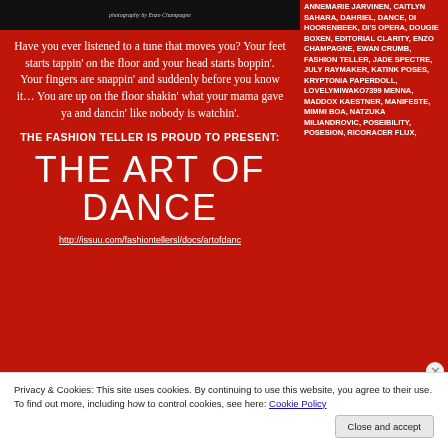[Figure (photo): Dark photograph with photography credit 'photography by Enzo Champagne']
Have you ever listened to a tune that moves you? Your feet starts tappin' on the floor and your head starts boppin'. Your fingers are snappin' and suddenly before you know it… You are up on the floor shakin' what your mama gave ya and dancin' like nobody is watchin'.
THE FASHION TELLER IS PROUD TO PRESENT:
THE ART OF DANCE
http://issuu.com/fashiontellersl/docs/artofdanc
ANNEMARIE JARVINEN, CAITLYN SAHARA, DAHRIEL, DANCE, DI HOORENBEEK, DI'S OPERA, DOUGIE BOXEN, EDITORIAL CLARITY, ENZO CHAMPAGNE, EWAN CRUMB, FASHION TELLER, JADE SPECTRE, JULY RAYMAKER, KATINK POSES, KRYPTONIA PAPERDOLL, LOVELYMIWAKO7399 MENNA, MADDOX KAESTNER, MANIFESTE, MIMMI BOA, NATZUKA MILIANDROVIC, POSEIBILITY, POSESION, RICORACER FLUX,
Privacy & Cookies: This site uses cookies. By continuing to use this website, you agree to their use. To find out more, including how to control cookies, see here: Cookie Policy